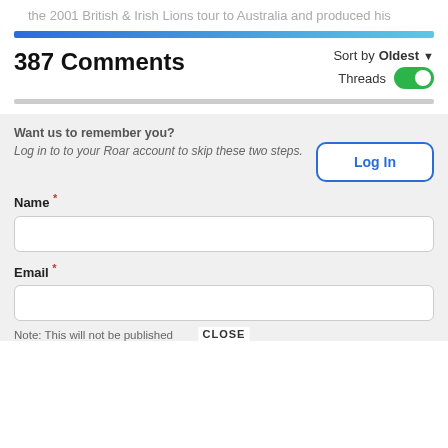the 2001 British & Irish Lions tour to Australia and produced his
387 Comments
Sort by Oldest
Threads
Want us to remember you? Log in to to your Roar account to skip these two steps.
Log In
Name *
Email *
Note: This will not be published
CLOSE